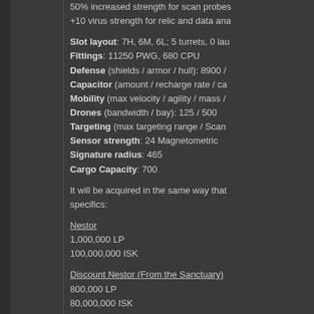50% increased strength for scan probes +10 virus strength for relic and data ana
Slot layout: 7H, 6M, 6L; 5 turrets, 0 lau
Fittings: 11250 PWG, 680 CPU
Defense (shields / armor / hull): 8900 /
Capacitor (amount / recharge rate / ca
Mobility (max velocity / agility / mass /
Drones (bandwidth / bay): 125 / 500
Targeting (max targeting range / Scan
Sensor strength: 24 Magnetometric
Signature radius: 465
Cargo Capacity: 700
It will be acquired in the same way that specifics:
Nestor
1,000,000 LP
100,000,000 ISK
Discount Nestor (From the Sanctuary)
800,000 LP
80,000,000 ISK